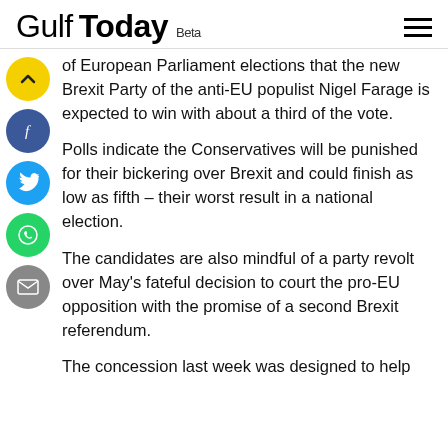Gulf Today Beta
of European Parliament elections that the new Brexit Party of the anti-EU populist Nigel Farage is expected to win with about a third of the vote.
Polls indicate the Conservatives will be punished for their bickering over Brexit and could finish as low as fifth – their worst result in a national election.
The candidates are also mindful of a party revolt over May's fateful decision to court the pro-EU opposition with the promise of a second Brexit referendum.
The concession last week was designed to help